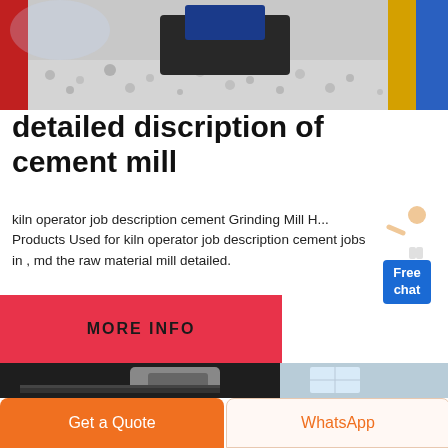[Figure (photo): Industrial cement mill machinery with gravel/granules, red and yellow/blue side strips visible]
detailed discription of cement mill
kiln operator job description cement Grinding Mill H... Products Used for kiln operator job description cement jobs in , md the raw material mill detailed.
[Figure (illustration): Customer service representative figure with Free chat button]
[Figure (other): MORE INFO red button/banner]
[Figure (photo): Industrial cement mill machinery, motor and conveyor equipment in dark industrial setting]
Get a Quote
WhatsApp